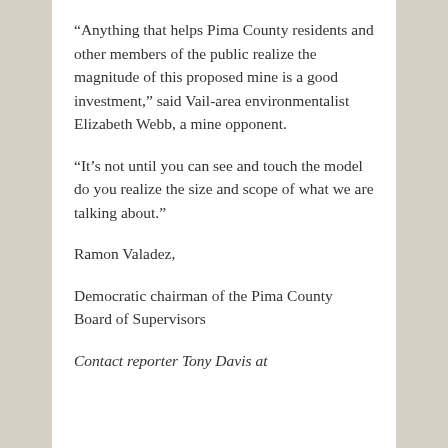“Anything that helps Pima County residents and other members of the public realize the magnitude of this proposed mine is a good investment,” said Vail-area environmentalist Elizabeth Webb, a mine opponent.
“It’s not until you can see and touch the model do you realize the size and scope of what we are talking about.”
Ramon Valadez,
Democratic chairman of the Pima County Board of Supervisors
Contact reporter Tony Davis at tdavis@azstarnet.com or 806-7746.